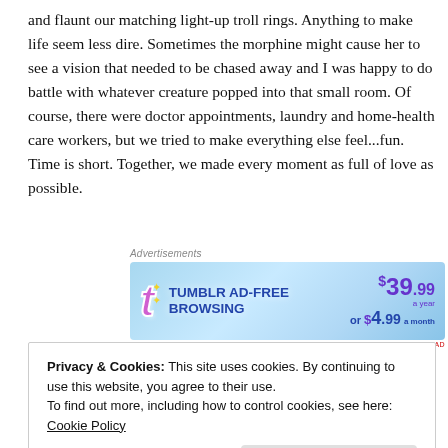and flaunt our matching light-up troll rings. Anything to make life seem less dire. Sometimes the morphine might cause her to see a vision that needed to be chased away and I was happy to do battle with whatever creature popped into that small room. Of course, there were doctor appointments, laundry and home-health care workers, but we tried to make everything else feel...fun. Time is short. Together, we made every moment as full of love as possible.
[Figure (screenshot): Tumblr Ad-Free Browsing advertisement banner. Shows Tumblr logo, text 'TUMBLR AD-FREE BROWSING', price $39.99 a year or $4.99 a month. Blue gradient background with stars.]
Shortly after her death, I was sleeping in my corner bedroom
Privacy & Cookies: This site uses cookies. By continuing to use this website, you agree to their use.
To find out more, including how to control cookies, see here: Cookie Policy
Close and accept